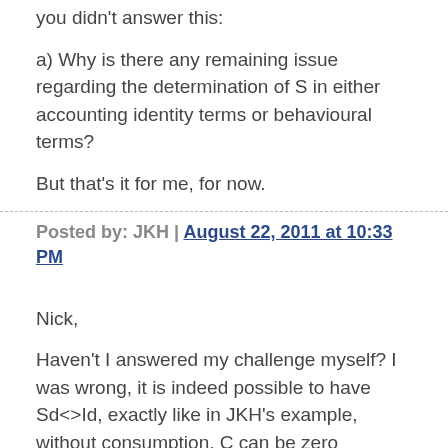you didn't answer this:
a) Why is there any remaining issue regarding the determination of S in either accounting identity terms or behavioural terms?
But that's it for me, for now.
Posted by: JKH | August 22, 2011 at 10:33 PM
Nick,
Haven't I answered my challenge myself? I was wrong, it is indeed possible to have Sd<>Id, exactly like in JKH's example, without consumption. C can be zero